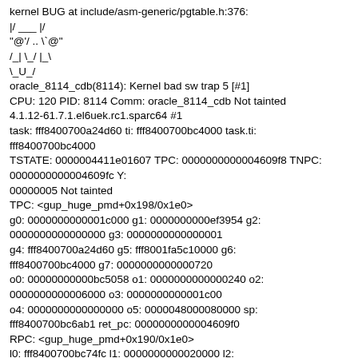kernel BUG at include/asm-generic/pgtable.h:376:
|/ ___ |/
"@'/ .. \`@"
/_| \_/ |_\
\_U_/
oracle_8114_cdb(8114): Kernel bad sw trap 5 [#1]
CPU: 120 PID: 8114 Comm: oracle_8114_cdb Not tainted
4.1.12-61.7.1.el6uek.rc1.sparc64 #1
task: fff8400700a24d60 ti: fff8400700bc4000 task.ti:
fff8400700bc4000
TSTATE: 0000004411e01607 TPC: 0000000000004609f8 TNPC:
0000000000004609fc Y:
00000005 Not tainted
TPC: <gup_huge_pmd+0x198/0x1e0>
g0: 0000000000001c000 g1: 0000000000ef3954 g2:
0000000000000000 g3: 0000000000000001
g4: fff8400700a24d60 g5: fff8001fa5c10000 g6:
fff8400700bc4000 g7: 0000000000000720
o0: 00000000000bc5058 o1: 0000000000000240 o2:
0000000000006000 o3: 0000000000001c00
o4: 0000000000000000 o5: 000004800080000 sp:
fff8400700bc6ab1 ret_pc: 00000000000004609f0
RPC: <gup_huge_pmd+0x190/0x1e0>
l0: fff8400700bc74fc l1: 0000000000020000 l2:
0000000000002000 l3: 0000000000000000
l4: fff8001f93250950 l5: 000000000113f800 l6: